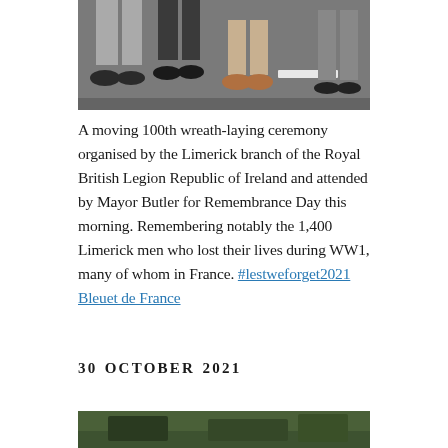[Figure (photo): Cropped photo showing the lower legs and feet of several people standing on a street/road, visible shoes and trousers, appears to be at a ceremony]
A moving 100th wreath‑laying ceremony organised by the Limerick branch of the Royal British Legion Republic of Ireland and attended by Mayor Butler for Remembrance Day this morning. Remembering notably the 1,400 Limerick men who lost their lives during WW1, many of whom in France. #lestweforget2021 Bleuet de France
30 OCTOBER 2021
[Figure (photo): Partial photo at the bottom of the page, appears to show a dark green/outdoor scene, partially cropped]